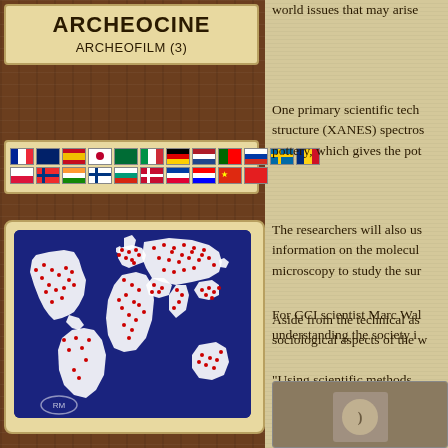ARCHEOCINE
ARCHEOFILM (3)
[Figure (other): Grid of international country flags, two rows]
[Figure (map): World map with dark blue background and red dot markers showing global distribution]
world issues that may arise
One primary scientific tech structure (XANES) spectros pottery, which gives the pot
The researchers will also us information on the molecul microscopy to study the sur
Aside from the technical as sociological aspects of the w
For GCI scientist Marc Wal understanding the society i
"Using scientific methods, workshops and potters and
[Figure (photo): Partial photo visible at bottom right corner]